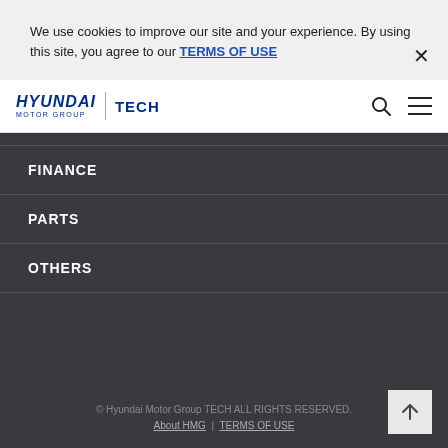We use cookies to improve our site and your experience. By using this site, you agree to our TERMS OF USE
[Figure (screenshot): Hyundai Motor Group TECH logo with search and menu icons]
FINANCE
PARTS
OTHERS
© Hyundai Motor Group TECH ALL RIGHTS RESERVED. About HMG | TERMS OF USE